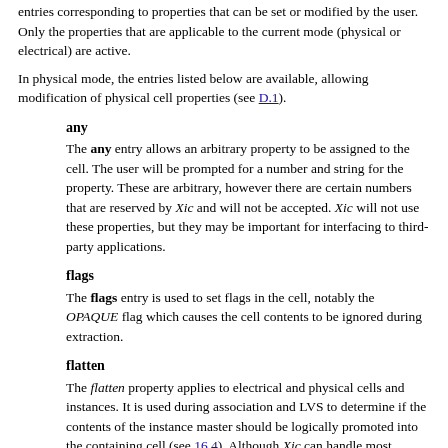entries corresponding to properties that can be set or modified by the user. Only the properties that are applicable to the current mode (physical or electrical) are active.
In physical mode, the entries listed below are available, allowing modification of physical cell properties (see D.1).
any
The any entry allows an arbitrary property to be assigned to the cell. The user will be prompted for a number and string for the property. These are arbitrary, however there are certain numbers that are reserved by Xic and will not be accepted. Xic will not use these properties, but they may be important for interfacing to third-party applications.
flags
The flags entry is used to set flags in the cell, notably the OPAQUE flag which causes the cell contents to be ignored during extraction.
flatten
The flatten property applies to electrical and physical cells and instances. It is used during association and LVS to determine if the contents of the instance master should be logically promoted into the containing cell (see 16.4). Although Xic can handle most hierarchy differences